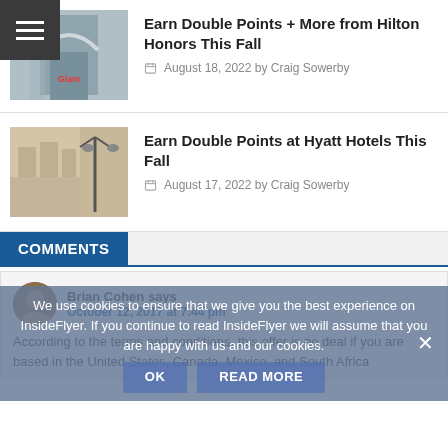[Figure (screenshot): Menu hamburger icon (three horizontal white lines on dark grey background) in top-left corner]
[Figure (photo): Thumbnail photo of Hilton hotel building exterior with glass facade and arched entrance]
Earn Double Points + More from Hilton Honors This Fall
August 18, 2022 by Craig Sowerby
[Figure (photo): Thumbnail photo of Hyatt hotel exterior with ornate classical architecture and street lamp]
Earn Double Points at Hyatt Hotels This Fall
August 17, 2022 by Craig Sowerby
COMMENTS
[Figure (photo): Avatar photo of commenter Brian Cohen]
Brian Cohen says
October 12, 2017 at 7:44 pm
According to the terms and conditions, this offer is no deal if you are based in the United States, Canada, Mexico, and South Africa
We use cookies to ensure that we give you the best experience on InsideFlyer. If you continue to read InsideFlyer we will assume that you are happy with us and our cookies.